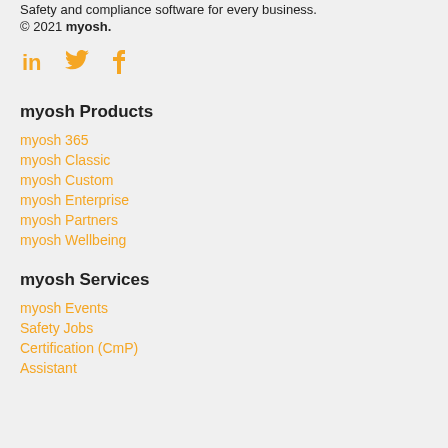Safety and compliance software for every business.
© 2021 myosh.
[Figure (other): Social media icons: LinkedIn, Twitter, Facebook in orange/gold color]
myosh Products
myosh 365
myosh Classic
myosh Custom
myosh Enterprise
myosh Partners
myosh Wellbeing
myosh Services
myosh Events
Safety Jobs
Certification (CmP)
Assistant